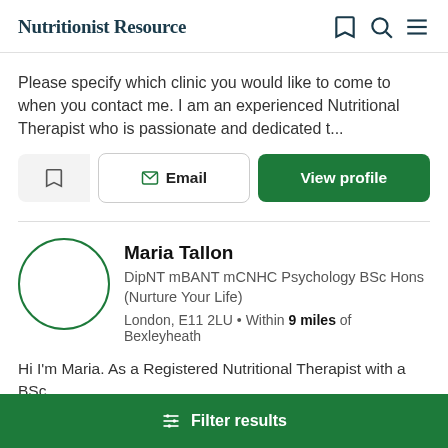Nutritionist Resource
Please specify which clinic you would like to come to when you contact me. I am an experienced Nutritional Therapist who is passionate and dedicated t...
Maria Tallon
DipNT mBANT mCNHC Psychology BSc Hons (Nurture Your Life)
London, E11 2LU • Within 9 miles of Bexleyheath
Hi I'm Maria. As a Registered Nutritional Therapist with a BSc
Filter results